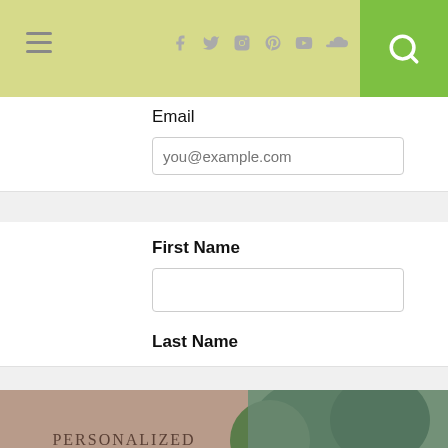Navigation bar with hamburger menu, social icons (Facebook, Twitter, Instagram, Pinterest, YouTube, SoundCloud), and search button
Email
you@example.com
First Name
Last Name
[Figure (photo): Promotional image for Personalized Homeschool Consulting and Mentoring With Karen DeBeus, showing text on a rose/mauve background on the left and a photo of a woman with long brown hair smiling outdoors with trees in the background on the right]